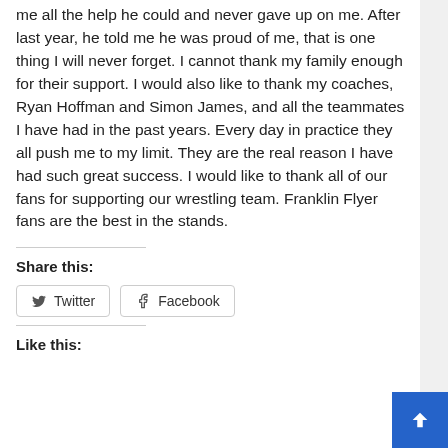me all the help he could and never gave up on me. After last year, he told me he was proud of me, that is one thing I will never forget. I cannot thank my family enough for their support. I would also like to thank my coaches, Ryan Hoffman and Simon James, and all the teammates I have had in the past years. Every day in practice they all push me to my limit. They are the real reason I have had such great success. I would like to thank all of our fans for supporting our wrestling team. Franklin Flyer fans are the best in the stands.
Share this:
Twitter
Facebook
Like this: